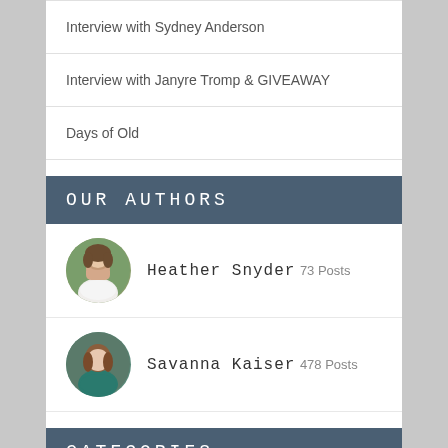Interview with Sydney Anderson
Interview with Janyre Tromp & GIVEAWAY
Days of Old
OUR AUTHORS
Heather Snyder 73 Posts
Savanna Kaiser 478 Posts
CATEGORIES